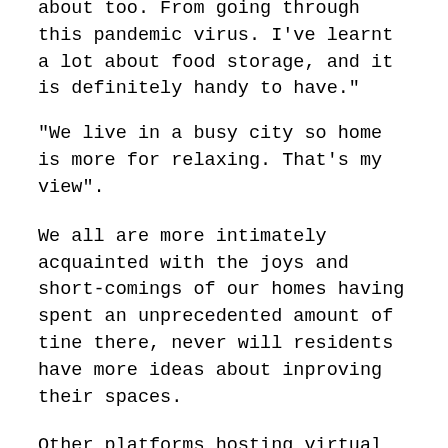about too. From going through this pandemic virus. I've learnt a lot about food storage, and it is definitely handy to have."
"We live in a busy city so home is more for relaxing. That's my view".
We all are more intimately acquainted with the joys and short-comings of our homes having spent an unprecedented amount of tine there, never will residents have more ideas about inproving their spaces.
Other platforms hosting virtual planning consultations and chat boxes opening when a resident logs in have been less successful with only the most determined residents being prepared enough with their battery of questions. Most just leave the site, perhaps feeling intimidated or watched? And telephone consultation? A tenant recently confided that she felt uncomfortable being cold-called by